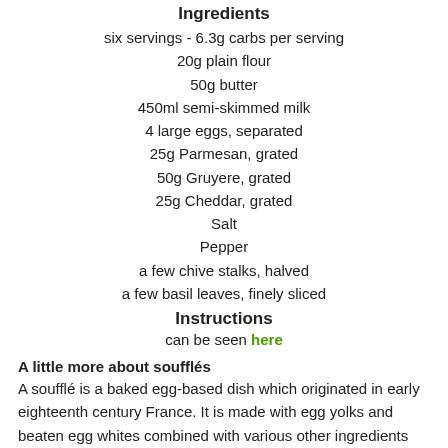Ingredients
six servings - 6.3g carbs per serving
20g plain flour
50g butter
450ml semi-skimmed milk
4 large eggs, separated
25g Parmesan, grated
50g Gruyere, grated
25g Cheddar, grated
Salt
Pepper
a few chive stalks, halved
a few basil leaves, finely sliced
Instructions
can be seen here
A little more about soufflés
A soufflé is a baked egg-based dish which originated in early eighteenth century France. It is made with egg yolks and beaten egg whites combined with various other ingredients and served as a savoury main dish or sweetened as a dessert.